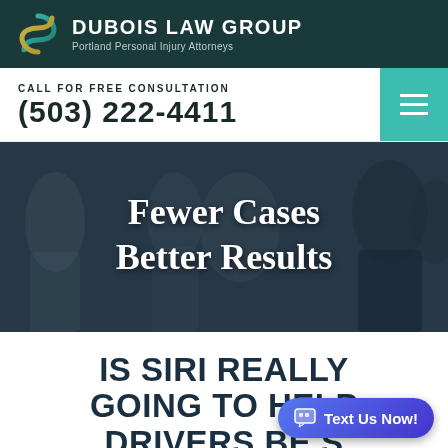DUBOIS LAW GROUP — Portland Personal Injury Attorneys
CALL FOR FREE CONSULTATION
(503) 222-4411
[Figure (photo): Blurred background photo of people in an office or indoor setting, overlaid with the text 'Fewer Cases Better Results']
IS SIRI REALLY GOING TO HELP DRIVERS BE S…